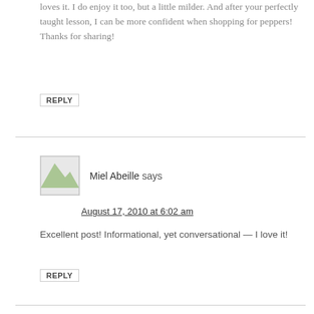loves it. I do enjoy it too, but a little milder. And after your perfectly taught lesson, I can be more confident when shopping for peppers! Thanks for sharing!
REPLY
Miel Abeille says
August 17, 2010 at 6:02 am
Excellent post! Informational, yet conversational — I love it!
REPLY